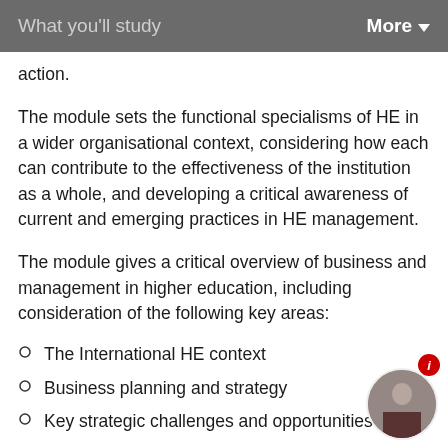What you'll study   More
action.
The module sets the functional specialisms of HE in a wider organisational context, considering how each can contribute to the effectiveness of the institution as a whole, and developing a critical awareness of current and emerging practices in HE management.
The module gives a critical overview of business and management in higher education, including consideration of the following key areas:
The International HE context
Business planning and strategy
Key strategic challenges and opportunities